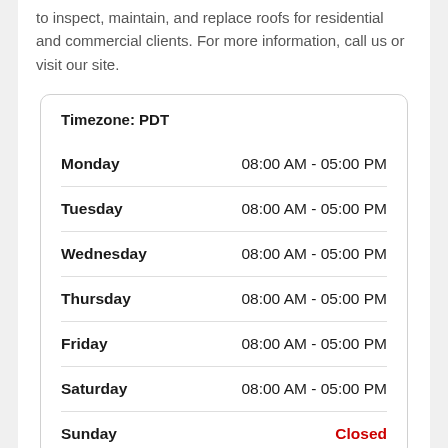to inspect, maintain, and replace roofs for residential and commercial clients. For more information, call us or visit our site.
| Day | Hours |
| --- | --- |
| Timezone: PDT |  |
| Monday | 08:00 AM - 05:00 PM |
| Tuesday | 08:00 AM - 05:00 PM |
| Wednesday | 08:00 AM - 05:00 PM |
| Thursday | 08:00 AM - 05:00 PM |
| Friday | 08:00 AM - 05:00 PM |
| Saturday | 08:00 AM - 05:00 PM |
| Sunday | Closed |